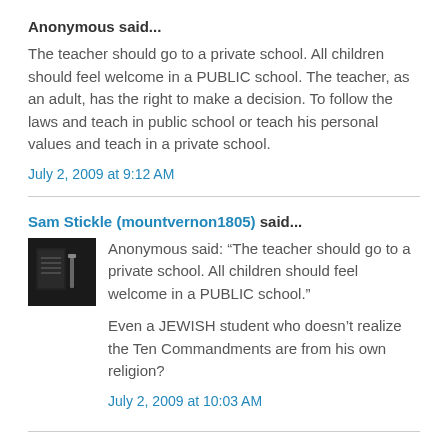Anonymous said...
The teacher should go to a private school. All children should feel welcome in a PUBLIC school. The teacher, as an adult, has the right to make a decision. To follow the laws and teach in public school or teach his personal values and teach in a private school.
July 2, 2009 at 9:12 AM
Sam Stickle (mountvernon1805) said...
Anonymous said: “The teacher should go to a private school. All children should feel welcome in a PUBLIC school.”
Even a JEWISH student who doesn’t realize the Ten Commandments are from his own religion?
July 2, 2009 at 10:03 AM